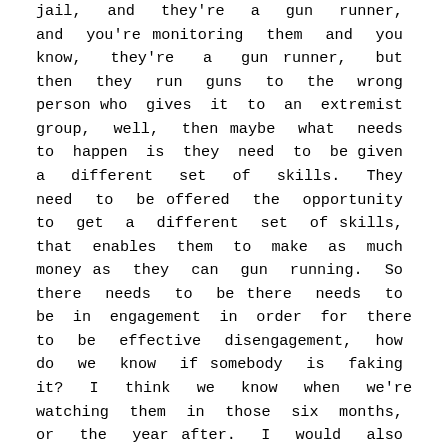jail, and they're a gun runner, and you're monitoring them and you know, they're a gun runner, but then they run guns to the wrong person who gives it to an extremist group, well, then maybe what needs to happen is they need to be given a different set of skills. They need to be offered the opportunity to get a different set of skills, that enables them to make as much money as they can gun running. So there needs to be there needs to be in engagement in order for there to be effective disengagement, how do we know if somebody is faking it? I think we know when we're watching them in those six months, or the year after. I would also say when we're looking at the programs in jail, who is designing these programs? What purpose? What assumptions are being made? What are the indicators of cooperation, because I'll just give an example from Indonesia. When the military got into the disengagement program, and